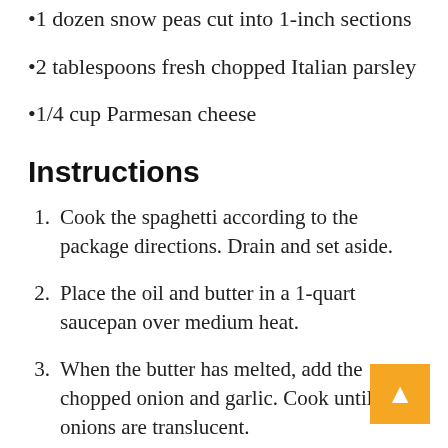1 dozen snow peas cut into 1-inch sections
2 tablespoons fresh chopped Italian parsley
1/4 cup Parmesan cheese
Instructions
Cook the spaghetti according to the package directions. Drain and set aside.
Place the oil and butter in a 1-quart saucepan over medium heat.
When the butter has melted, add the chopped onion and garlic. Cook until the onions are translucent.
Add the diced tomatoes, tomato sauce, and